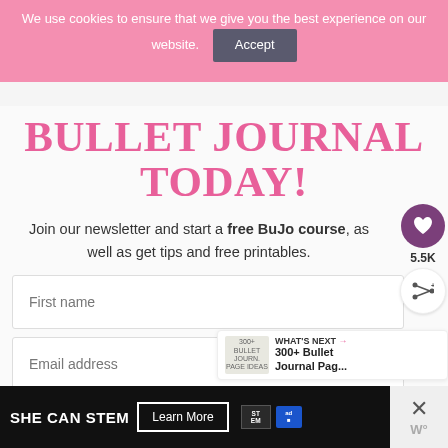We use cookies to ensure that we give you the best experience on our website.
Accept
BULLET JOURNAL TODAY!
Join our newsletter and start a free BuJo course, as well as get tips and free printables.
First name
Email address
5.5K
WHAT'S NEXT → 300+ Bullet Journal Pag...
[Figure (screenshot): Cookie consent banner in pink, with bullet journal signup form below including First name and Email address fields, social share sidebar with heart button and 5.5K count, What's Next panel, and SHE CAN STEM advertisement banner at bottom.]
SHE CAN STEM
Learn More